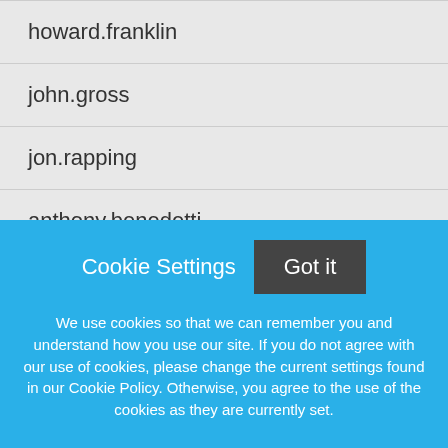howard.franklin
john.gross
jon.rapping
anthony.benedetti
kristen.hill
renate.lunn
amanda.thibeault
Cookie Settings
Got it
We use cookies so that we can remember you and understand how you use our site. If you do not agree with our use of cookies, please change the current settings found in our Cookie Policy. Otherwise, you agree to the use of the cookies as they are currently set.